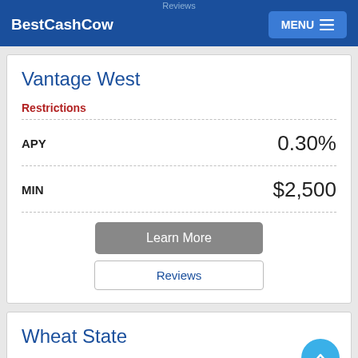Reviews | BestCashCow | MENU
Vantage West
Restrictions
| Field | Value |
| --- | --- |
| APY | 0.30% |
| MIN | $2,500 |
Learn More
Reviews
Wheat State
Restrictions